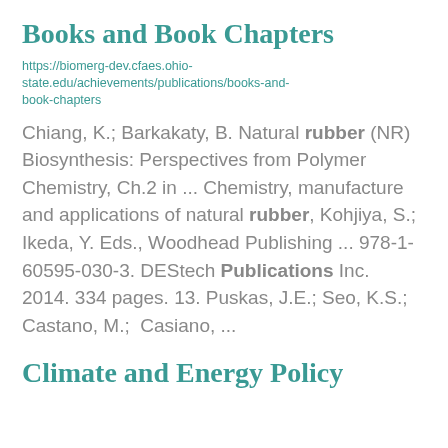Books and Book Chapters
https://biomerg-dev.cfaes.ohio-state.edu/achievements/publications/books-and-book-chapters
Chiang, K.; Barkakaty, B. Natural rubber (NR) Biosynthesis: Perspectives from Polymer Chemistry, Ch.2 in ... Chemistry, manufacture and applications of natural rubber, Kohjiya, S.; Ikeda, Y. Eds., Woodhead Publishing ... 978-1-60595-030-3. DEStech Publications Inc. 2014. 334 pages. 13. Puskas, J.E.; Seo, K.S.; Castano, M.; Casiano, ...
Climate and Energy Policy